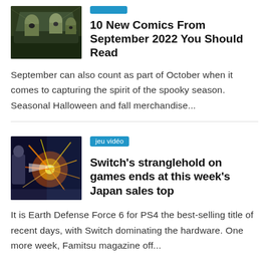[Figure (illustration): Comic book style illustration showing zombie-like figures in a vehicle, dramatic action scene with dark green tones]
10 New Comics From September 2022 You Should Read
September can also count as part of October when it comes to capturing the spirit of the spooky season. Seasonal Halloween and fall merchandise...
[Figure (illustration): Anime/video game style illustration showing a character with explosive energy effects, vibrant orange and red sparks against a blue/white background]
jeu vidéo
Switch's stranglehold on games ends at this week's Japan sales top
It is Earth Defense Force 6 for PS4 the best-selling title of recent days, with Switch dominating the hardware. One more week, Famitsu magazine off...